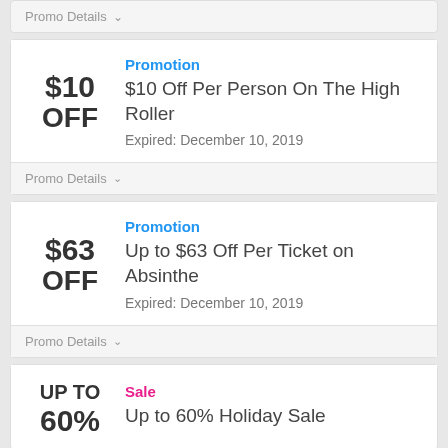Promo Details
Promotion
$10 Off Per Person On The High Roller
Expired: December 10, 2019
Promo Details
Promotion
Up to $63 Off Per Ticket on Absinthe
Expired: December 10, 2019
Promo Details
Sale
Up to 60% Holiday Sale